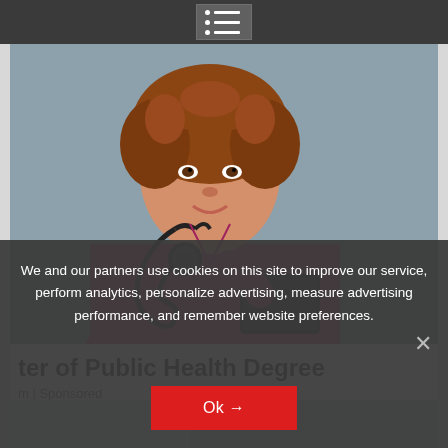[Figure (photo): Woman in pink/magenta scrubs with stethoscope around neck, holding a tablet, standing in front of a grey-blue wall. Healthcare/nursing professional photo.]
ter of Public Health Degree
m | Sponsored
[Figure (photo): Partially visible second image card below the first article.]
We and our partners use cookies on this site to improve our service, perform analytics, personalize advertising, measure advertising performance, and remember website preferences.
Ok →